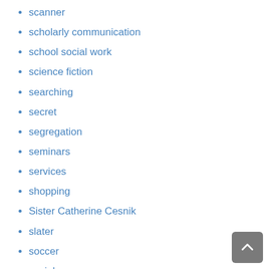scanner
scholarly communication
school social work
science fiction
searching
secret
segregation
seminars
services
shopping
Sister Catherine Cesnik
slater
soccer
social
social change
social history
social media
social protest
social workers
society
speaker series
Special Collections